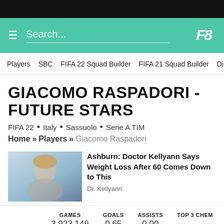Search...
Players  SBC  FIFA 22 Squad Builder  FIFA 21 Squad Builder  Di
GIACOMO RASPADORI - FUTURE STARS
FIFA 22 • Italy • Sassuolo • Serie A TIM
Home >> Players >> Giacomo Raspadori
[Figure (photo): Advertisement image: woman with blonde hair on a TV set, for Dr. Kellyann weight loss article]
Ashburn: Doctor Kellyann Says Weight Loss After 60 Comes Down to This
Dr. Kellyann
| GAMES | GOALS | ASSISTS | TOP 3 CHEM |
| --- | --- | --- | --- |
| 3,923,146 | 0.65 | 0.00 |  |
NEXT MATCH AGAINST
Udinese Calcio (H)
PRICE TREND
▲ 1374% (+42K)